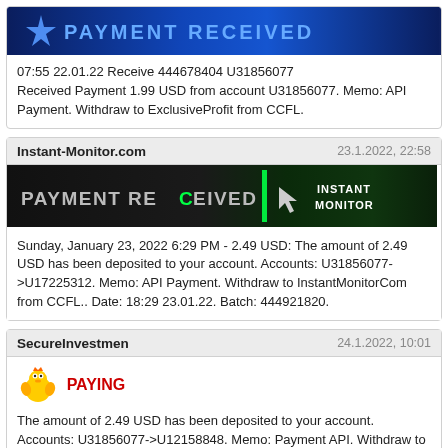[Figure (screenshot): Payment Received banner with blue background and star logo]
07:55 22.01.22 Receive 444678404 U31856077
Received Payment 1.99 USD from account U31856077. Memo: API Payment. Withdraw to ExclusiveProfit from CCFL.
Instant-Monitor.com   23.1.2022, 22:58
[Figure (screenshot): PAYMENT RECEIVED banner with dark background and green highlights, INSTANT MONITOR text on right]
Sunday, January 23, 2022 6:29 PM - 2.49 USD: The amount of 2.49 USD has been deposited to your account. Accounts: U31856077->U17225312. Memo: API Payment. Withdraw to InstantMonitorCom from CCFL.. Date: 18:29 23.01.22. Batch: 444921820.
SecureInvestmen   24.1.2022, 10:01
[Figure (illustration): Cartoon bird/chick emoji with PAYING text in red]
The amount of 2.49 USD has been deposited to your account. Accounts: U31856077->U12158848. Memo: Payment API. Withdraw to SecureInvestment from CCFL.. Date: 06:13